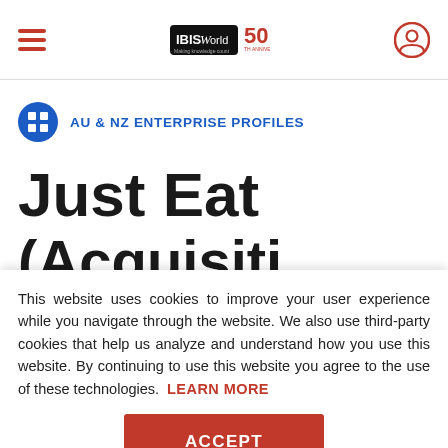IBISWorld 50th Anniversary — navigation bar with hamburger menu and user icon
AU & NZ ENTERPRISE PROFILES
Just Eat (Acquisition) Pt
This website uses cookies to improve your user experience while you navigate through the website. We also use third-party cookies that help us analyze and understand how you use this website. By continuing to use this website you agree to the use of these technologies. LEARN MORE
ACCEPT